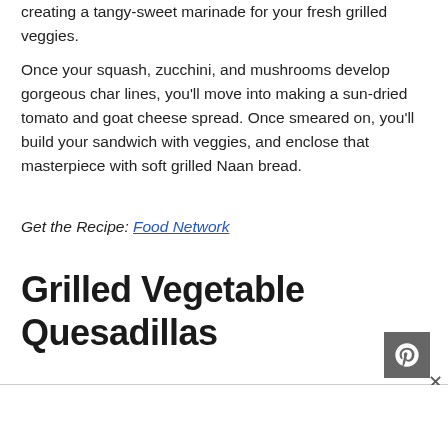creating a tangy-sweet marinade for your fresh grilled veggies.
Once your squash, zucchini, and mushrooms develop gorgeous char lines, you'll move into making a sun-dried tomato and goat cheese spread. Once smeared on, you'll build your sandwich with veggies, and enclose that masterpiece with soft grilled Naan bread.
Get the Recipe: Food Network
Grilled Vegetable Quesadillas